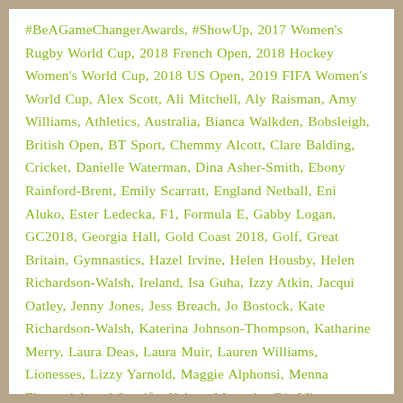#BeAGameChangerAwards, #ShowUp, 2017 Women's Rugby World Cup, 2018 French Open, 2018 Hockey Women's World Cup, 2018 US Open, 2019 FIFA Women's World Cup, Alex Scott, Ali Mitchell, Aly Raisman, Amy Williams, Athletics, Australia, Bianca Walkden, Bobsleigh, British Open, BT Sport, Chemmy Alcott, Clare Balding, Cricket, Danielle Waterman, Dina Asher-Smith, Ebony Rainford-Brent, Emily Scarratt, England Netball, Eni Aluko, Ester Ledecka, F1, Formula E, Gabby Logan, GC2018, Georgia Hall, Gold Coast 2018, Golf, Great Britain, Gymnastics, Hazel Irvine, Helen Housby, Helen Richardson-Walsh, Ireland, Isa Guha, Izzy Atkin, Jacqui Oatley, Jenny Jones, Jess Breach, Jo Bostock, Kate Richardson-Walsh, Katerina Johnson-Thompson, Katharine Merry, Laura Deas, Laura Muir, Lauren Williams, Lionesses, Lizzy Yarnold, Maggie Alphonsi, Menna Fitzpatrick and Jennifer Kehoe, Mercedes F1, Mica McNeill, Mica Moore, Millie Knight, Natasha Hunt,